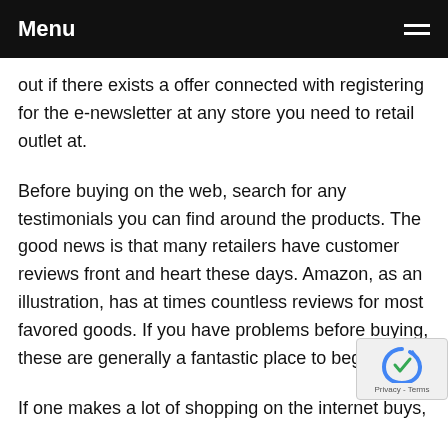Menu
out if there exists a offer connected with registering for the e-newsletter at any store you need to retail outlet at.
Before buying on the web, search for any testimonials you can find around the products. The good news is that many retailers have customer reviews front and heart these days. Amazon, as an illustration, has at times countless reviews for most favored goods. If you have problems before buying, these are generally a fantastic place to begin.
If one makes a lot of shopping on the internet buys, you should think of joining one of a number of services that give you discounts